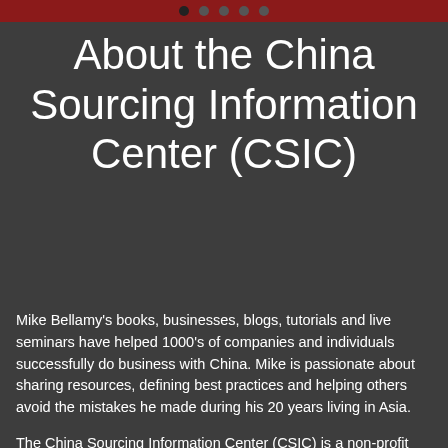● ● ● ● ●
About the China Sourcing Information Center (CSIC)
Mike Bellamy's books, businesses, blogs, tutorials and live seminars have helped 1000's of companies and individuals successfully do business with China. Mike is passionate about sharing resources, defining best practices and helping others avoid the mistakes he made during his 20 years living in Asia.
The China Sourcing Information Center (CSIC) is a non-profit organization, founded by Mike, dedicated to that very same